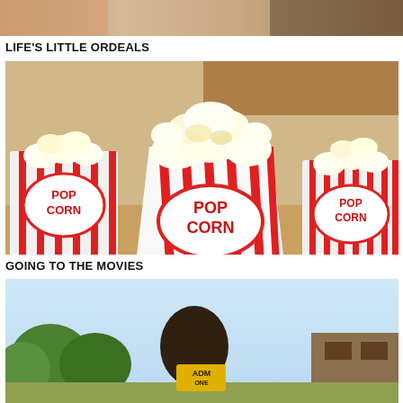[Figure (photo): Top portion of a photo showing what appears to be food items, partially cropped]
LIFE'S LITTLE ORDEALS
[Figure (photo): Photo of classic red and white striped popcorn boxes labeled 'POP CORN', overflowing with popcorn. Multiple boxes visible, with baked goods blurred in background.]
GOING TO THE MOVIES
[Figure (photo): Bottom portion of a photo showing outdoor scene with trees and what appears to be a movie ticket or sign, partially cropped]